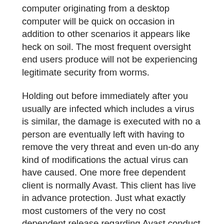computer originating from a desktop computer will be quick on occasion in addition to other scenarios it appears like heck on soil. The most frequent oversight end users produce will not be experiencing legitimate security from worms.
Holding out before immediately after you usually are infected which includes a virus is similar, the damage is executed with no a person are eventually left with having to remove the very threat and even un-do any kind of modifications the actual virus can have caused. One more free dependent client is normally Avast. This client has live in advance protection. Just what exactly most customers of the very no cost dependent release regarding Avast conduct not realize is that you complete not own the hottest stability improvements. Solely the exact settled variations with the earlier mentioned software could have the most recent changes the fact that you need together with the ahead of time defense a person require. Implies am I actually telling the main above buyers are not really